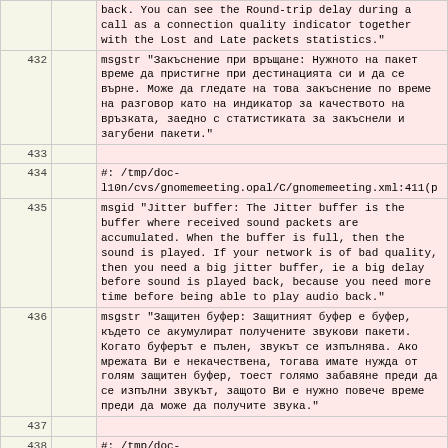| line |  | content |
| --- | --- | --- |
|  |  | back. You can see the Round-trip delay during a call as a connection quality indicator together with the Lost and Late packets statistics." |
| 432 |  | msgstr "Закъснение при връщане: Нужното на пакет време да пристигне при дестинацията си и да се върне. Може да гледате на това закъснение по време на разговор като на индикатор за качеството на връзката, заедно с статистиката за закъснели и загубени пакети." |
| 433 |  |  |
| 434 |  | #: /tmp/doc-l10n/cvs/gnomemeeting.opal/C/gnomemeeting.xml:411(p |
| 435 |  | msgid "Jitter buffer: The Jitter buffer is the buffer where received sound packets are accumulated. When the buffer is full, then the sound is played. If your network is of bad quality, then you need a big jitter buffer, ie a big delay before sound is played back, because you need more time before being able to play audio back." |
| 436 |  | msgstr "Защитен буфер: Защитният буфер е буфер, където се акумулират получените звукови пакети. Когато буферът е пълен, звукът се изпълнява. Ако мрежата Ви е некачествена, тогава имате нужда от голям защитен буфер, тоест голямо забавяне преди да се изпълни звукът, защото Ви е нужно повече време преди да може да получите звука." |
| 437 |  |  |
| 438 |  | #: /tmp/doc-l10n/cvs/gnomemeeting.opal/C/gnomemeeting.xml:415(e |
| 439 |  | msgid "Adjusting the audio and video settings" |
| 440 |  | msgstr "Променяне на аудио и видео настройките" |
| 441 |  |  |
| 442 |  | #: /tmp/doc-l10n/cvs/gnomemeeting.opal/C/gnomemeeting.xml:417(p |
| 443 |  | msgid "Your audio and video settings can be |